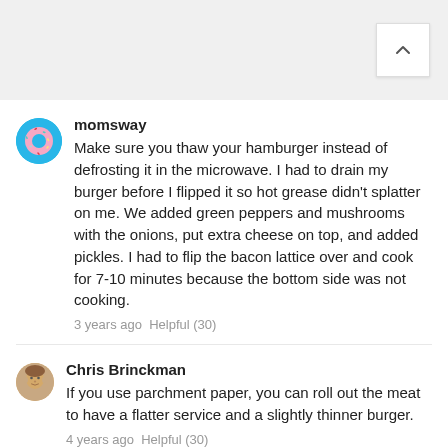momsway — Make sure you thaw your hamburger instead of defrosting it in the microwave. I had to drain my burger before I flipped it so hot grease didn't splatter on me. We added green peppers and mushrooms with the onions, put extra cheese on top, and added pickles. I had to flip the bacon lattice over and cook for 7-10 minutes because the bottom side was not cooking. 3 years ago Helpful (30)
Chris Brinckman — If you use parchment paper, you can roll out the meat to have a flatter service and a slightly thinner burger. 4 years ago Helpful (30)
Kelly Blauvelt Parrot